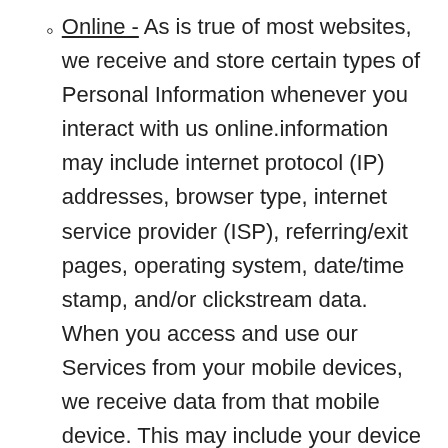Online - As is true of most websites, we receive and store certain types of Personal Information whenever you interact with us online.information may include internet protocol (IP) addresses, browser type, internet service provider (ISP), referring/exit pages, operating system, date/time stamp, and/or clickstream data. When you access and use our Services from your mobile devices, we receive data from that mobile device. This may include your device ID, location data, IP address and device type. You may manage how your mobile device and